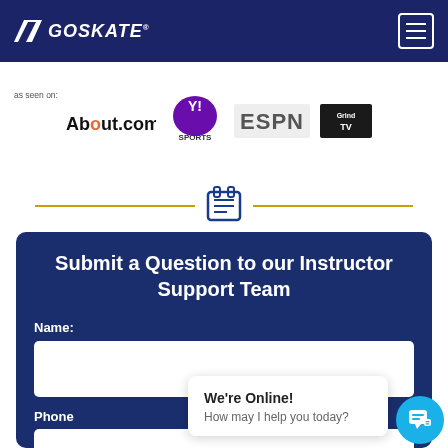GOSKATE
[Figure (logo): As seen on: About.com, Yahoo! Sports, ESPN, GrindTV logos]
[Figure (infographic): Decorative divider with clipboard/list icon between two gold horizontal lines]
Submit a Question to our Instructor Support Team
Name:
Phone
We're Online! How may I help you today?